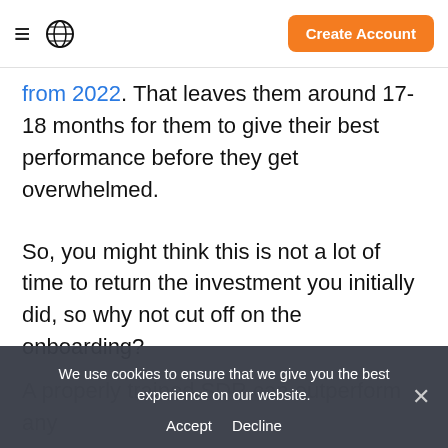= [globe icon] | Create Account
from 2022. That leaves them around 17-18 months for them to give their best performance before they get overwhelmed.
So, you might think this is not a lot of time to return the investment you initially did, so why not cut off on the onboarding?
Let me tell you... not a good idea!
A properly trained SDR can outperform any
We use cookies to ensure that we give you the best experience on our website.